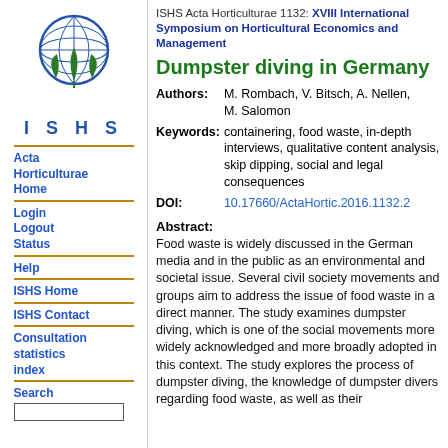[Figure (logo): ISHS globe and plant logo with text ISHS below]
Acta Horticulturae Home
Login
Logout
Status
Help
ISHS Home
ISHS Contact
Consultation statistics index
Search
ISHS Acta Horticulturae 1132: XVIII International Symposium on Horticultural Economics and Management
Dumpster diving in Germany
| Authors: | M. Rombach, V. Bitsch, A. Nellen, M. Salomon |
| Keywords: | containering, food waste, in-depth interviews, qualitative content analysis, skip dipping, social and legal consequences |
| DOI: | 10.17660/ActaHortic.2016.1132.2 |
Abstract:
Food waste is widely discussed in the German media and in the public as an environmental and societal issue. Several civil society movements and groups aim to address the issue of food waste in a direct manner. The study examines dumpster diving, which is one of the social movements more widely acknowledged and more broadly adopted in this context. The study explores the process of dumpster diving, the knowledge of dumpster divers regarding food waste, as well as their